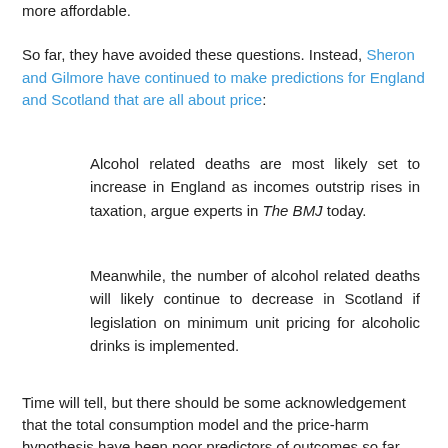more affordable.
So far, they have avoided these questions. Instead, Sheron and Gilmore have continued to make predictions for England and Scotland that are all about price:
Alcohol related deaths are most likely set to increase in England as incomes outstrip rises in taxation, argue experts in The BMJ today.
Meanwhile, the number of alcohol related deaths will likely continue to decrease in Scotland if legislation on minimum unit pricing for alcoholic drinks is implemented.
Time will tell, but there should be some acknowledgement that the total consumption model and the price-harm hypothesis have been poor predictors of outcomes so far, and that the decline in alcohol-related deaths has been most apparent in Scotland where it began several years before alcohol became less 'affordable'.